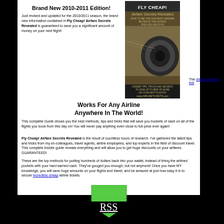Brand New 2010-2011 Edition!
Just revised and updated for the 2010/2011 season, the brand new information contained in Fly Cheap! Airfare Secrets Revealed is guaranteed to save you a significant amount of money on your next flight!
[Figure (illustration): Book cover for Fly Cheap! Airfare Secrets Revealed, 2010-2011 edition, showing a jet engine close-up with gold/brown design]
Works For Any Airline Anywhere In The World!
This complete Guide shows you the best methods, tips and tricks that will save you buckets of cash on all of the flights you book from this day on! You will never pay anything even close to full price ever again!
Fly Cheap! Airfare Secrets Revealed is the result of countless hours of research. I've gathered the latest tips and tricks from my ex-colleagues, travel agents, airline employees, and top experts in the field of discount travel. This complete insider guide reveals everything and will allow you to get huge discounts on your airfares. GUARANTEED!
These are the top methods for putting hundreds of dollars back into your wallet, instead of lining the airlines' pockets with your hard earned cash. They've gouged you enough, but not anymore! Once you have MY knowledge, you will save huge amounts on your flights and travel, and be amazed at just how easy it is to secure incredibly cheap airline tickets.
[Figure (illustration): Green downward pointing arrow/chevron graphic]
The discount airline tick
RSS